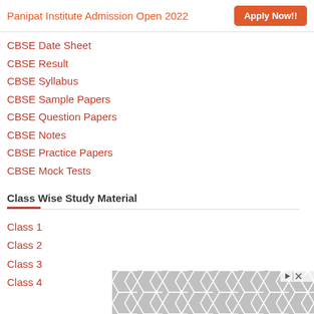Panipat Institute Admission Open 2022  Apply Now!!
CBSE Date Sheet
CBSE Result
CBSE Syllabus
CBSE Sample Papers
CBSE Question Papers
CBSE Notes
CBSE Practice Papers
CBSE Mock Tests
Class Wise Study Material
Class 1
Class 2
Class 3
Class 4
[Figure (other): Advertisement banner with geometric hexagonal pattern and close/skip controls]